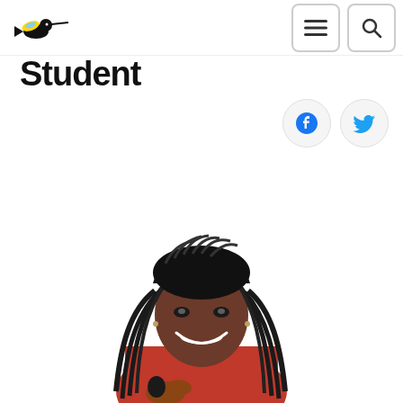Student
[Figure (photo): Portrait photo of a smiling young woman with long braided hair, wearing a red top and holding a small bird figure, on a white background]